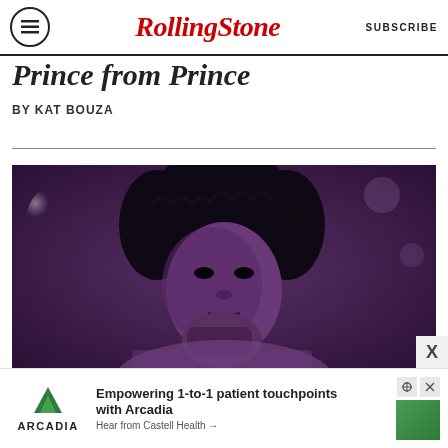Rolling Stone | SUBSCRIBE
Prince from Prince (partial title visible)
BY KAT BOUZA
[Figure (photo): Purple-tinted black and white photograph of Prince performing on stage, with curly hair, looking at camera with hand raised near face]
Empowering 1-to-1 patient touchpoints with Arcadia — Hear from Castell Health →